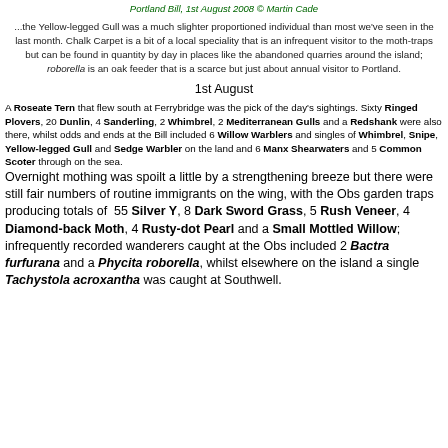Portland Bill, 1st August 2008 © Martin Cade
...the Yellow-legged Gull was a much slighter proportioned individual than most we've seen in the last month. Chalk Carpet is a bit of a local speciality that is an infrequent visitor to the moth-traps but can be found in quantity by day in places like the abandoned quarries around the island; roborella is an oak feeder that is a scarce but just about annual visitor to Portland.
1st August
A Roseate Tern that flew south at Ferrybridge was the pick of the day's sightings. Sixty Ringed Plovers, 20 Dunlin, 4 Sanderling, 2 Whimbrel, 2 Mediterranean Gulls and a Redshank were also there, whilst odds and ends at the Bill included 6 Willow Warblers and singles of Whimbrel, Snipe, Yellow-legged Gull and Sedge Warbler on the land and 6 Manx Shearwaters and 5 Common Scoter through on the sea. Overnight mothing was spoilt a little by a strengthening breeze but there were still fair numbers of routine immigrants on the wing, with the Obs garden traps producing totals of 55 Silver Y, 8 Dark Sword Grass, 5 Rush Veneer, 4 Diamond-back Moth, 4 Rusty-dot Pearl and a Small Mottled Willow; infrequently recorded wanderers caught at the Obs included 2 Bactra furfurana and a Phycita roborella, whilst elsewhere on the island a single Tachystola acroxantha was caught at Southwell.